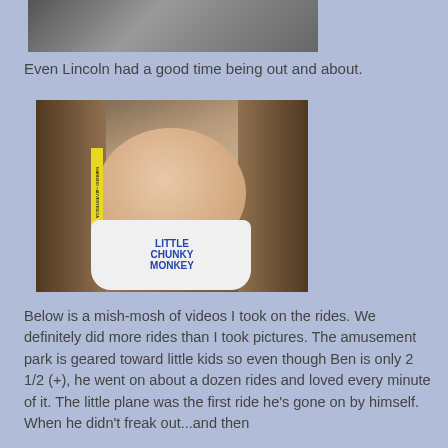[Figure (photo): Partial photo of a stroller or baby item, cropped at top]
Even Lincoln had a good time being out and about.
[Figure (photo): Photo of a smiling baby sitting in a patterned car seat/stroller, wearing a white bib that reads 'LITTLE CHUNKY MONKEY']
Below is a mish-mosh of videos I took on the rides. We definitely did more rides than I took pictures. The amusement park is geared toward little kids so even though Ben is only 2 1/2 (+), he went on about a dozen rides and loved every minute of it. The little plane was the first ride he's gone on by himself. When he didn't freak out...and then